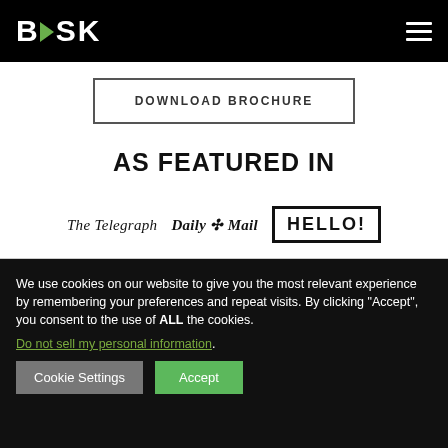BASK
DOWNLOAD BROCHURE
AS FEATURED IN
[Figure (logo): The Telegraph newspaper logo in italic serif font]
[Figure (logo): Daily Mail newspaper logo in bold italic serif font with decorative emblem]
[Figure (logo): HELLO! magazine logo in bold sans-serif with rectangular border]
We use cookies on our website to give you the most relevant experience by remembering your preferences and repeat visits. By clicking “Accept”, you consent to the use of ALL the cookies.
Do not sell my personal information.
Cookie Settings
Accept